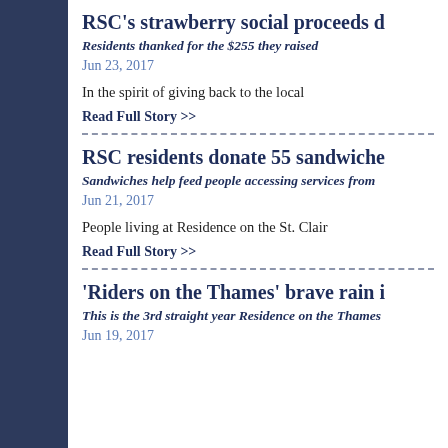RSC's strawberry social proceeds d
Residents thanked for the $255 they raised
Jun 23, 2017
In the spirit of giving back to the local
Read Full Story >>
RSC residents donate 55 sandwiche
Sandwiches help feed people accessing services from
Jun 21, 2017
People living at Residence on the St. Clair
Read Full Story >>
'Riders on the Thames' brave rain i
This is the 3rd straight year Residence on the Thames
Jun 19, 2017